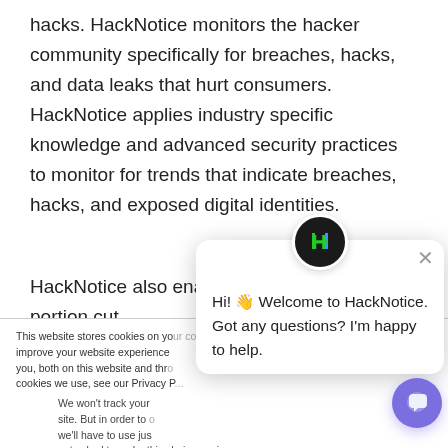hacks. HackNotice monitors the hacker community specifically for breaches, hacks, and data leaks that hurt consumers. HackNotice applies industry specific knowledge and advanced security practices to monitor for trends that indicate breaches, hacks, and exposed digital identities.
HackNotice also enables clients to portion cut
This website stores cookies on your computer. These are used to improve your website experience you, both on this website and through cookies we use, see our Privacy P
We won't track your site. But in order to c we'll have to use jus not asked to make this choice again.
Accept
Decline
[Figure (screenshot): HackNotice chat widget with logo showing 'N' in green and blue, displaying message: Hi! Welcome to HackNotice. Got any questions? I'm happy to help. Close button (X) in top right corner.]
[Figure (illustration): Purple circular chat button in bottom right corner with speech bubble icon.]